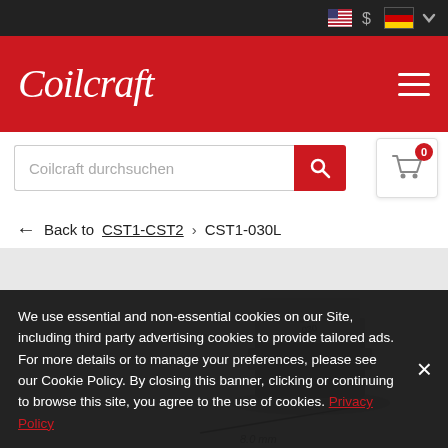Coilcraft – top navigation bar with utility icons, logo, hamburger menu
[Figure (screenshot): Coilcraft website UI: red header with Coilcraft logo and hamburger menu, search bar with red search button, cart icon with 0 badge, breadcrumb navigation Back to CST1-CST2 > CST1-030L, product photo of a small SMD inductor component]
← Back to CST1-CST2 > CST1-030L
We use essential and non-essential cookies on our Site, including third party advertising cookies to provide tailored ads. For more details or to manage your preferences, please see our Cookie Policy. By closing this banner, clicking or continuing to browse this site, you agree to the use of cookies. Privacy Policy